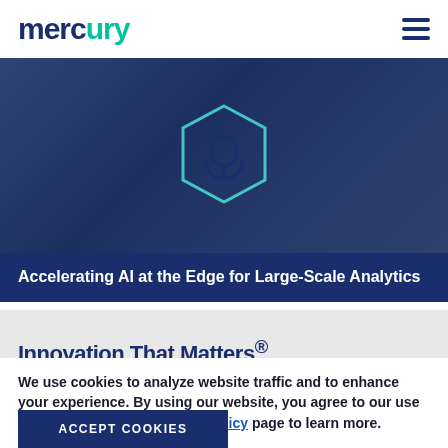mercury
[Figure (illustration): Hero image with dark blue background suggesting a crowd, with a teal hexagon outline icon containing a microphone symbol centered over the image]
Accelerating AI at the Edge for Large-Scale Analytics
Innovation That Matters®
We use cookies to analyze website traffic and to enhance your experience. By using our website, you agree to our use of cookies. Visit our privacy policy page to learn more.
ACCEPT COOKIES